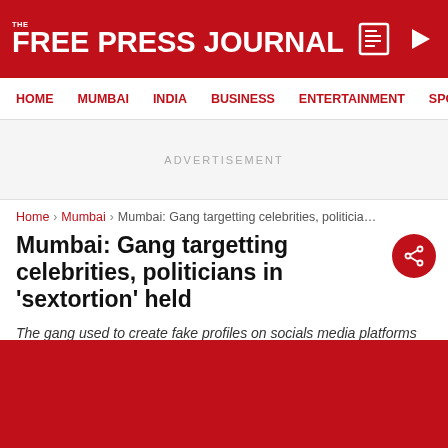THE FREE PRESS JOURNAL
HOME  MUMBAI  INDIA  BUSINESS  ENTERTAINMENT  SPO
ADVERTISEMENT
Home › Mumbai › Mumbai: Gang targetting celebrities, politicians i...
Mumbai: Gang targetting celebrities, politicians in 'sextortion' held
The gang used to create fake profiles on socials media platforms mostly by names Pooja Sharma or Neha Sharma and send friend request to their targets on Facebook (FB),